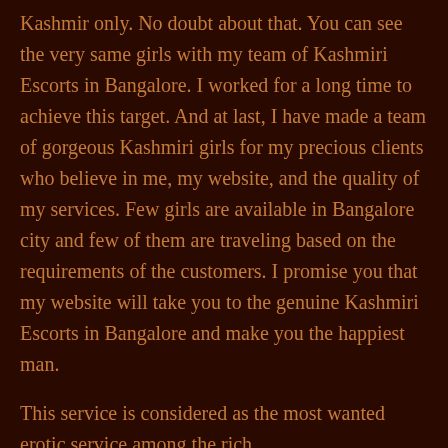Kashmir only. No doubt about that. You can see the very same girls with my team of Kashmiri Escorts in Bangalore. I worked for a long time to achieve this target. And at last, I have made a team of gorgeous Kashmiri girls for my precious clients who believe in me, my website, and the quality of my services. Few girls are available in Bangalore city and few of them are traveling based on the requirements of the customers. I promise you that my website will take you to the genuine Kashmiri Escorts in Bangalore and make you the happiest man.
This service is considered as the most wanted erotic service among the rich